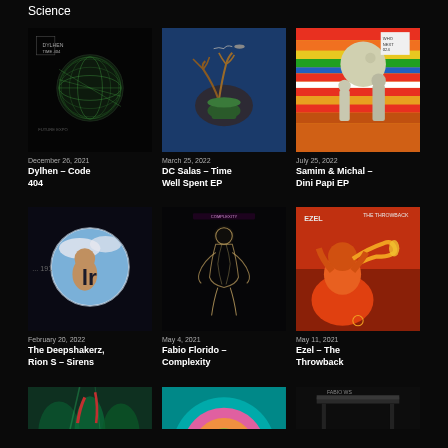Science
[Figure (photo): Album cover: Dylhen – Code 404, dark sphere with green grid pattern on black background]
December 26, 2021
Dylhen – Code 404
[Figure (photo): Album cover: DC Salas – Time Well Spent EP, surreal sculpture/creature on blue background]
March 25, 2022
DC Salas – Time Well Spent EP
[Figure (photo): Album cover: Samim & Michal – Dini Papi EP, cats standing on colorful striped background with moon]
July 25, 2022
Samim & Michal – Dini Papi EP
[Figure (photo): Album cover: The Deepshakerz, Rion S – Sirens, circular logo with monkey/figure on sky background, numbered 191]
February 20, 2022
The Deepshakerz, Rion S – Sirens
[Figure (photo): Album cover: Fabio Florido – Complexity, glowing figure outline on dark background]
May 4, 2021
Fabio Florido – Complexity
[Figure (photo): Album cover: Ezel – The Throwback, illustrated musician with trumpet in red/orange on dark background]
May 11, 2021
Ezel – The Throwback
[Figure (photo): Partial album cover: underwater/plant scene, teal and green]
[Figure (photo): Partial album cover: colorful circular design on teal background]
[Figure (photo): Partial album cover: dark scene with table/piano]